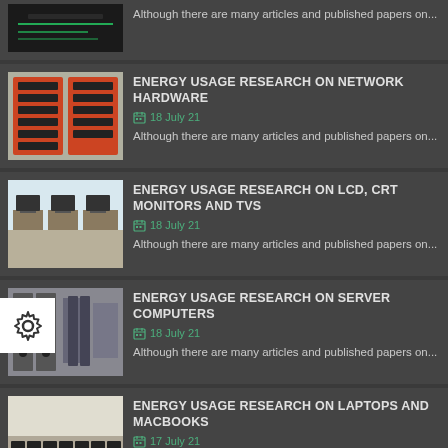Although there are many articles and published papers on...
ENERGY USAGE RESEARCH ON NETWORK HARDWARE
18 July 21
Although there are many articles and published papers on...
ENERGY USAGE RESEARCH ON LCD, CRT MONITORS AND TVS
18 July 21
Although there are many articles and published papers on...
ENERGY USAGE RESEARCH ON SERVER COMPUTERS
18 July 21
Although there are many articles and published papers on...
ENERGY USAGE RESEARCH ON LAPTOPS AND MACBOOKS
17 July 21
Although there are many articles and published papers